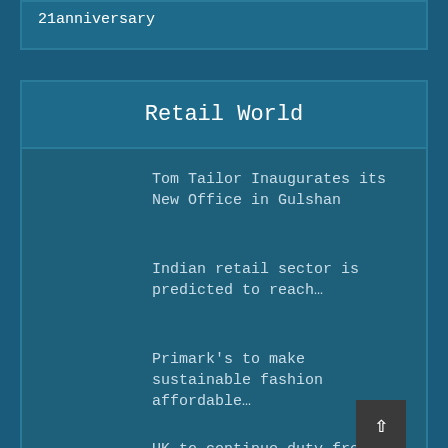21anniversary
Retail World
Tom Tailor Inaugurates its New Office in Gulshan
Indian retail sector is predicted to reach…
Primark's to make sustainable fashion affordable…
UK to continue duty-free market access to…